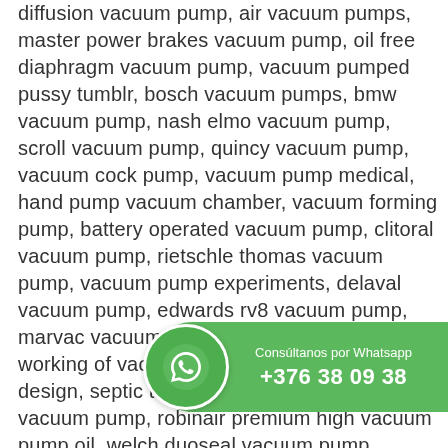diffusion vacuum pump, air vacuum pumps, master power brakes vacuum pump, oil free diaphragm vacuum pump, vacuum pumped pussy tumblr, bosch vacuum pumps, bmw vacuum pump, nash elmo vacuum pump, scroll vacuum pump, quincy vacuum pump, vacuum cock pump, vacuum pump medical, hand pump vacuum chamber, vacuum forming pump, battery operated vacuum pump, clitoral vacuum pump, rietschle thomas vacuum pump, vacuum pump experiments, delaval vacuum pump, edwards rv8 vacuum pump, marvac vacuum pump, qiagen vacuum pump, working of vacuum pump, vacuum pump design, septic truck vacuum pump, e46 vacuum pump, robinair premium high vacuum pump oil, welch duoseal vacuum pump, vacuum pump buy, busch vacuum pump oil, vacuum pump ppt, vacuum pump llc, vacuum pump erection, vacuum pump oil type, brake fluid
[Figure (other): WhatsApp contact widget showing a phone icon and the text 'Consúltanos por Whatsapp +376 38 09 38' on a green rounded rectangle.]